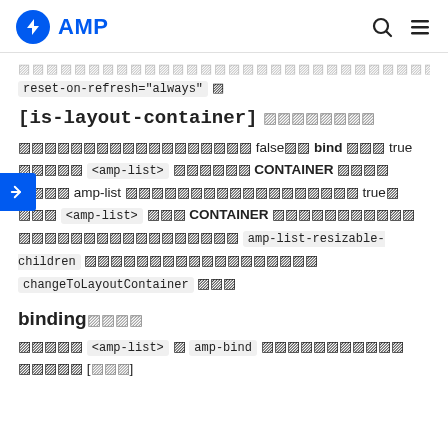AMP
reset-on-refresh="always"
[is-layout-container] attribute
Returns false with bind returns true for <amp-list> elements whose CONTAINER is set. amp-list returns true when the amp-list has a CONTAINER and calls amp-list-resizable-children and changeToLayoutContainer API.
binding attribute
Tells <amp-list> if amp-bind should evaluate